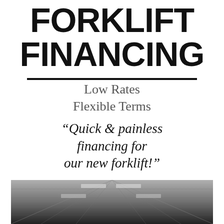FORKLIFT FINANCING
Low Rates
Flexible Terms
“Quick & painless financing for our new forklift!”
- ForkliftLenders.com Customer
[Figure (photo): Black and white photo of a warehouse ceiling with fluorescent lighting and metal grid structure, viewed from below.]